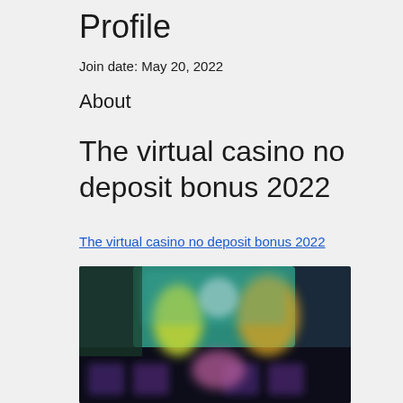Profile
Join date: May 20, 2022
About
The virtual casino no deposit bonus 2022
The virtual casino no deposit bonus 2022
[Figure (photo): Blurred screenshot of a virtual casino interface with colorful graphics and characters]